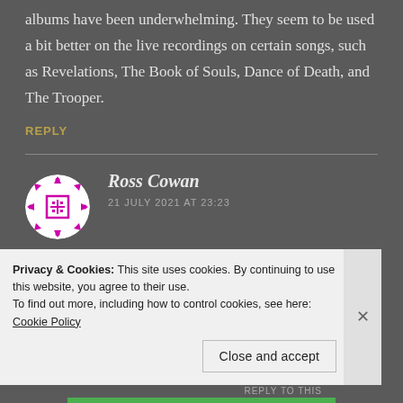albums have been underwhelming. They seem to be used a bit better on the live recordings on certain songs, such as Revelations, The Book of Souls, Dance of Death, and The Trooper.
REPLY
[Figure (illustration): Avatar/profile image for user Ross Cowan — circular icon with magenta/purple decorative pattern on white background]
Ross Cowan
21 JULY 2021 AT 23:23
Privacy & Cookies: This site uses cookies. By continuing to use this website, you agree to their use.
To find out more, including how to control cookies, see here: Cookie Policy
Close and accept